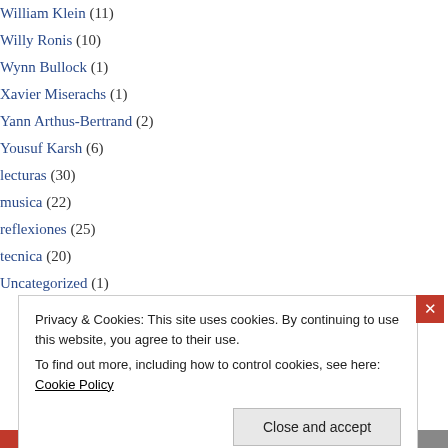William Klein (11)
Willy Ronis (10)
Wynn Bullock (1)
Xavier Miserachs (1)
Yann Arthus-Bertrand (2)
Yousuf Karsh (6)
lecturas (30)
musica (22)
reflexiones (25)
tecnica (20)
Uncategorized (1)
Privacy & Cookies: This site uses cookies. By continuing to use this website, you agree to their use. To find out more, including how to control cookies, see here: Cookie Policy